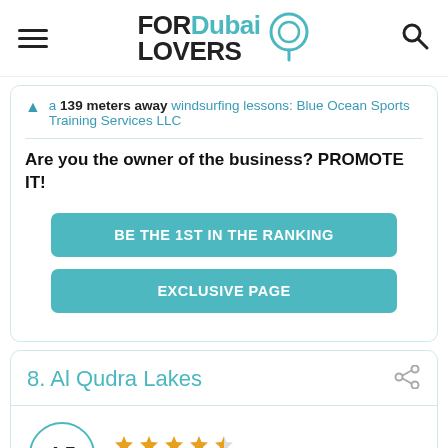FOR Dubai LOVERS [logo with pin icon and search icon]
a 139 meters away windsurfing lessons: Blue Ocean Sports Training Services LLC
Are you the owner of the business? PROMOTE IT!
BE THE 1ST IN THE RANKING
EXCLUSIVE PAGE
8. Al Qudra Lakes
4.5  ★★★★☆  318 reviews